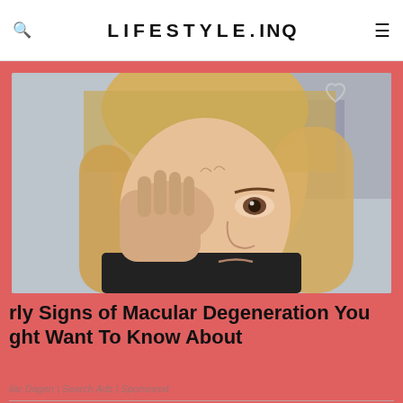LIFESTYLE.INQ
[Figure (photo): Blonde woman rubbing or touching her eye with her hand, looking distressed, outdoor background]
rly Signs of Macular Degeneration You ght Want To Know About
ilar Dagen | Search Ads | Sponsored
[Figure (photo): Partial view of a second article image at the bottom]